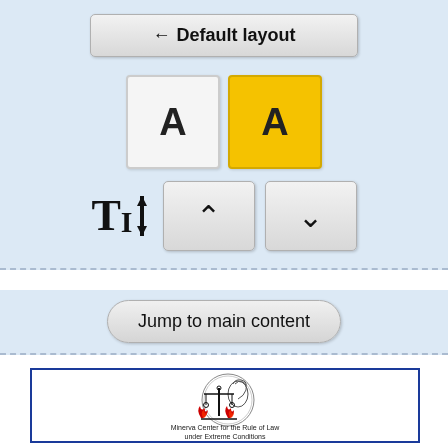[Figure (screenshot): UI panel with Default layout button, two theme toggle buttons (white A and yellow A), font size control with up/down arrows, and Jump to main content button on a light blue background]
[Figure (logo): Minerva Center for the Rule of Law under Extreme Conditions logo — circular emblem with Minerva figure, scales of justice with flames, inside a blue-bordered rectangle with text 'Minerva Center for the Rule of Law under Extreme Conditions']